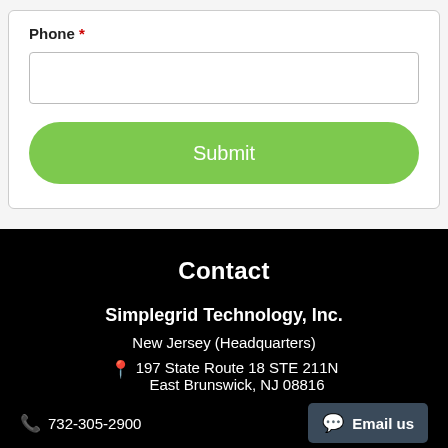Phone *
[Figure (screenshot): Phone input text field — empty white rectangle with border]
Submit
Contact
Simplegrid Technology, Inc.
New Jersey (Headquarters)
197 State Route 18 STE 211N East Brunswick, NJ 08816
732-305-2900
Email us